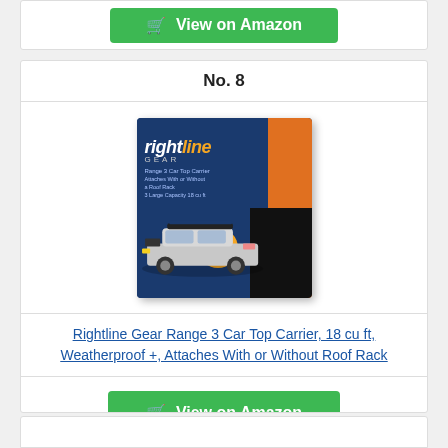[Figure (other): Green 'View on Amazon' button with shopping cart icon, partially visible at top of page]
No. 8
[Figure (photo): Product box for Rightline Gear Range 3 Car Top Carrier with blue and orange packaging showing a car with a rooftop carrier]
Rightline Gear Range 3 Car Top Carrier, 18 cu ft, Weatherproof +, Attaches With or Without Roof Rack
[Figure (other): Green 'View on Amazon' button with shopping cart icon]
[Figure (other): Bottom partial card, partially visible]